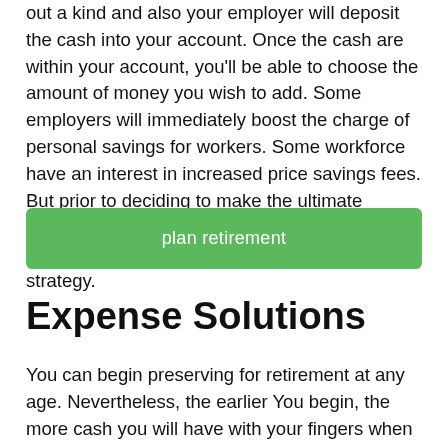out a kind and also your employer will deposit the cash into your account. Once the cash are within your account, you'll be able to choose the amount of money you wish to add. Some employers will immediately boost the charge of personal savings for workers. Some workforce have an interest in increased price savings fees. But prior to deciding to make the ultimate decision, it's essential to know the tax consequences on the funds you put into your strategy.
[Figure (other): Green button labeled 'plan retirement']
Expense Solutions
You can begin preserving for retirement at any age. Nevertheless, the earlier You begin, the more cash you will have with your fingers when you finally retire. You may as well spend money on pension strategies, personal debt mutual resources and hybrid mutual resources, and write-up